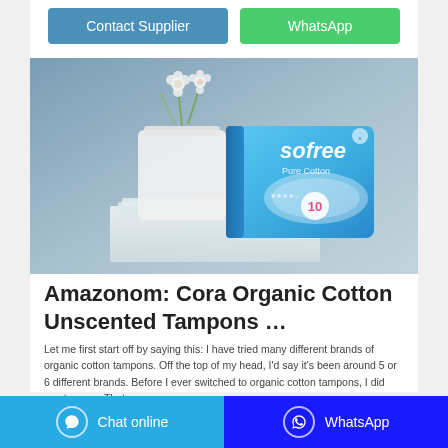Contact Supplier
WhatsApp
[Figure (photo): Product photo of Sofree Pure Cotton sanitary pads package (blue packaging, count of 10) displayed on a white surface next to a white vase with small white flowers, against a blue-grey background.]
Amazonom: Cora Organic Cotton Unscented Tampons …
Let me first start off by saying this: I have tried many different brands of organic cotton tampons. Off the top of my head, I'd say it's been around 5 or 6 different brands. Before I ever switched to organic cotton tampons, I did use tampax. That was years ago.
Chat online
WhatsApp